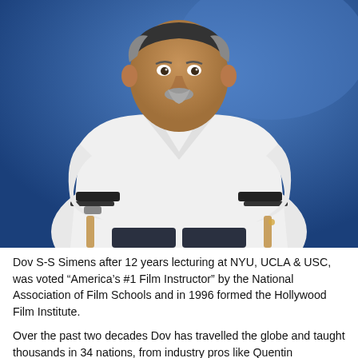[Figure (photo): Portrait photo of Dov S-S Simens, a heavyset man with a gray goatee, wearing a white chef-style jacket with black trim, seated in a wooden director's chair, against a blue background.]
Dov S-S Simens after 12 years lecturing at NYU, UCLA & USC, was voted “America’s #1 Film Instructor” by the National Association of Film Schools and in 1996 formed the Hollywood Film Institute.
Over the past two decades Dov has travelled the globe and taught thousands in 34 nations, from industry pros like Quentin Tarantino,